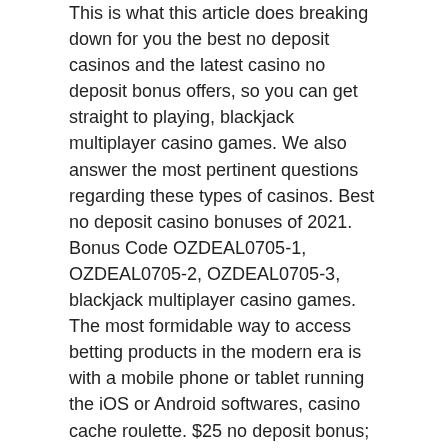This is what this article does breaking down for you the best no deposit casinos and the latest casino no deposit bonus offers, so you can get straight to playing, blackjack multiplayer casino games. We also answer the most pertinent questions regarding these types of casinos. Best no deposit casino bonuses of 2021. Bonus Code OZDEAL0705-1, OZDEAL0705-2, OZDEAL0705-3, blackjack multiplayer casino games. The most formidable way to access betting products in the modern era is with a mobile phone or tablet running the iOS or Android softwares, casino cache roulette. $25 no deposit bonus; 300% neosurf bonus; 175% cards bonus. 250% welcome bonus up to 2,500 usd. Bonus can be claimed in conjunction with sister casinos no deposit: no. Does 24vip casino offer a no deposit bonus code? yes. New players will receive a $50 no deposit bonus. What is the welcome